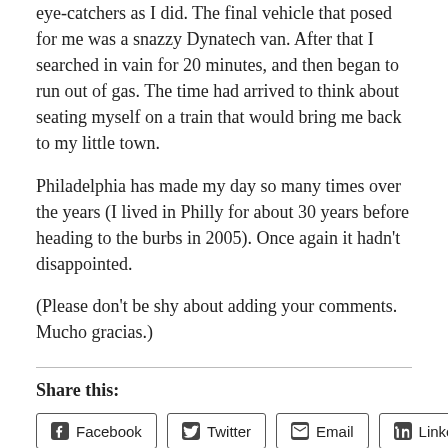eye-catchers as I did. The final vehicle that posed for me was a snazzy Dynatech van. After that I searched in vain for 20 minutes, and then began to run out of gas. The time had arrived to think about seating myself on a train that would bring me back to my little town.
Philadelphia has made my day so many times over the years (I lived in Philly for about 30 years before heading to the burbs in 2005). Once again it hadn't disappointed.
(Please don't be shy about adding your comments. Mucho gracias.)
Share this:
Facebook  Twitter  Email  LinkedIn
Loading